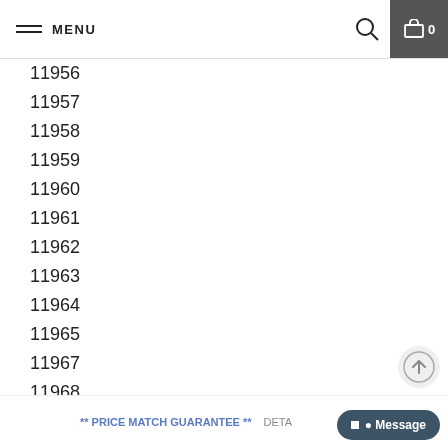MENU
11956
11957
11958
11959
11960
11961
11962
11963
11964
11965
11967
11968
11969
11970
11971
** PRICE MATCH GUARANTEE **   DETA   Message